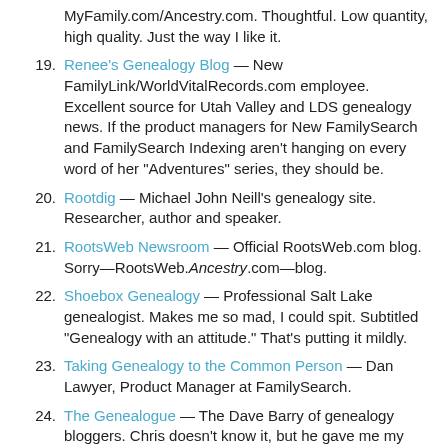MyFamily.com/Ancestry.com. Thoughtful. Low quantity, high quality. Just the way I like it.
Renee's Genealogy Blog — New FamilyLink/WorldVitalRecords.com employee. Excellent source for Utah Valley and LDS genealogy news. If the product managers for New FamilySearch and FamilySearch Indexing aren't hanging on every word of her "Adventures" series, they should be.
Rootdig — Michael John Neill's genealogy site. Researcher, author and speaker.
RootsWeb Newsroom — Official RootsWeb.com blog. Sorry—RootsWeb.Ancestry.com—blog.
Shoebox Genealogy — Professional Salt Lake genealogist. Makes me so mad, I could spit. Subtitled "Genealogy with an attitude." That's putting it mildly.
Taking Genealogy to the Common Person — Dan Lawyer, Product Manager at FamilySearch.
The Genealogue — The Dave Barry of genealogy bloggers. Chris doesn't know it, but he gave me my first big break. My numbers were inconsequential until he quoted a story I published.